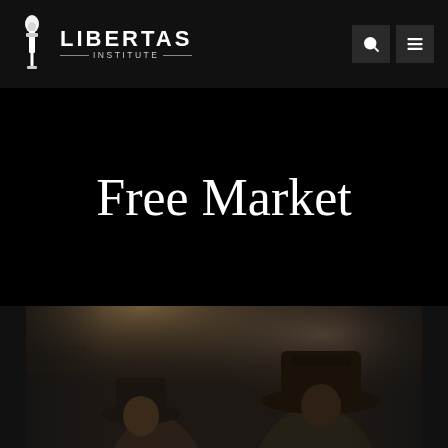Libertas Institute
Free Market
[Figure (photo): Dark atmospheric photo of two people wearing hats in a dimly lit setting, partially visible at the bottom of the page]